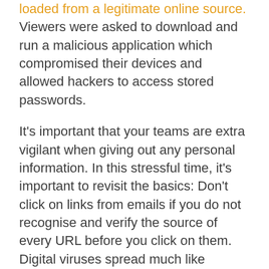loaded from a legitimate online source. Viewers were asked to download and run a malicious application which compromised their devices and allowed hackers to access stored passwords.

It's important that your teams are extra vigilant when giving out any personal information. In this stressful time, it's important to revisit the basics: Don't click on links from emails if you do not recognise and verify the source of every URL before you click on them. Digital viruses spread much like physical ones and if one employee makes a mistake this could very well contaminate others within the organisation. That's why being extra